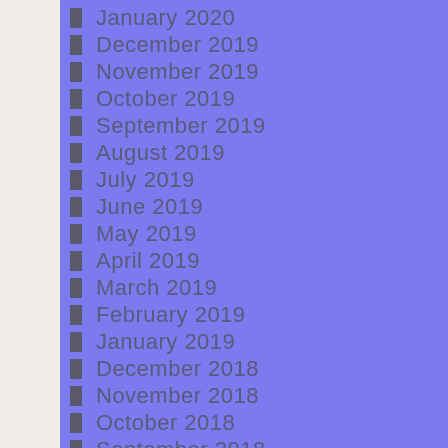January 2020
December 2019
November 2019
October 2019
September 2019
August 2019
July 2019
June 2019
May 2019
April 2019
March 2019
February 2019
January 2019
December 2018
November 2018
October 2018
September 2018
August 2018
i vers , absolutely Sum